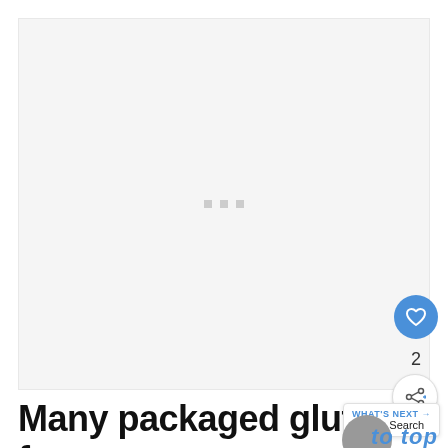[Figure (photo): Large image placeholder area with light gray background and three small gray loading dots in the center, indicating an image that has not loaded.]
Many packaged gluten-free processed foods like snack
[Figure (screenshot): UI overlay elements: a blue heart/like button (circular), a like count showing '2', a share button, a 'WHAT'S NEXT' tooltip showing 'Recipe Search', a gray circle, and a script-font logo reading 'to top'.]